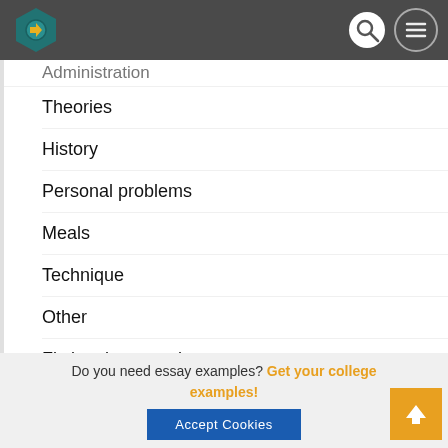[Logo] [Search icon] [Menu icon]
Administration
Theories
History
Personal problems
Meals
Technique
Other
Fictional arts works
Politics
Relatives
Learning
Performing
Essay Topics
Do you need essay examples? Get your college examples!